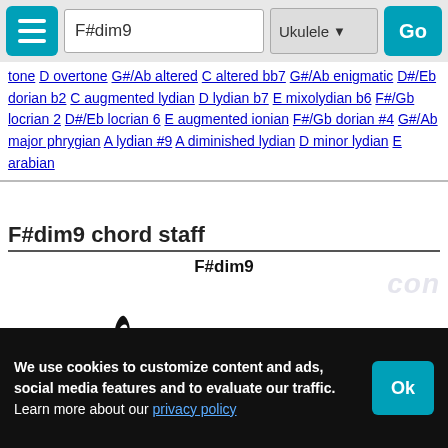F#dim9 | Ukulele | Go
tone D overtone G#/Ab altered C altered bb7 G#/Ab enigmatic D#/Eb dorian b2 C augmented lydian D lydian b7 E mixolydian b6 F#/Gb locrian 2 D#/Eb locrian 6 E augmented ionian F#/Gb dorian #4 G#/Ab major phrygian A lydian #9 A diminished lydian D minor lydian E arabian
F#dim9 chord staff
[Figure (illustration): Musical staff showing F#dim9 chord notation with treble clef, whole notes with sharps arranged on staff lines]
We use cookies to customize content and ads, social media features and to evaluate our traffic. Learn more about our privacy policy | Ok